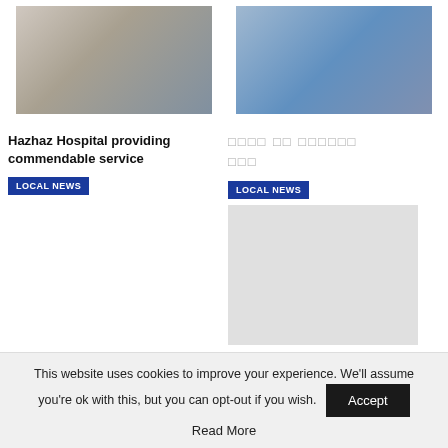[Figure (photo): Doctor in white coat examining a patient, medical setting]
[Figure (photo): Healthcare workers in blue PPE gear working in a laboratory]
Hazhaz Hospital providing commendable service
□□□□ □□ □□□□□□ □□□
LOCAL NEWS
LOCAL NEWS
[Figure (photo): Grey placeholder image box]
Announcement from the
□□□□ □□ □□□□□□
This website uses cookies to improve your experience. We'll assume you're ok with this, but you can opt-out if you wish.
Accept
Read More